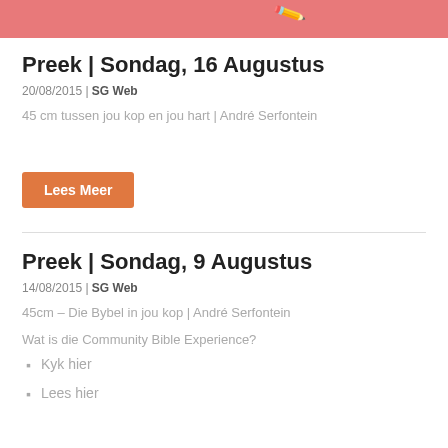[Figure (illustration): Pink/salmon colored banner with a pencil or marker icon illustration]
Preek | Sondag, 16 Augustus
20/08/2015 | SG Web
45 cm tussen jou kop en jou hart | André Serfontein
Lees Meer
Preek | Sondag, 9 Augustus
14/08/2015 | SG Web
45cm – Die Bybel in jou kop  | André Serfontein
Wat is die Community Bible Experience?
Kyk hier
Lees hier